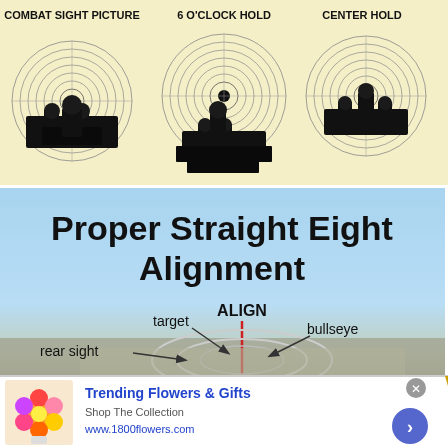[Figure (infographic): Three shooting sight pictures side by side labeled COMBAT SIGHT PICTURE, 6 O'CLOCK HOLD, and CENTER HOLD, showing gun sights aligned with circular targets on a cream/yellow background.]
[Figure (infographic): Proper Straight Eight Alignment diagram showing target, rear sight, bullseye labels with ALIGN label and a red vertical line on a blue-to-gray gradient background.]
[Figure (infographic): Advertisement bar: flower photo, Trending Flowers & Gifts text, Shop The Collection, www.1800flowers.com, blue circle arrow button, close X button.]